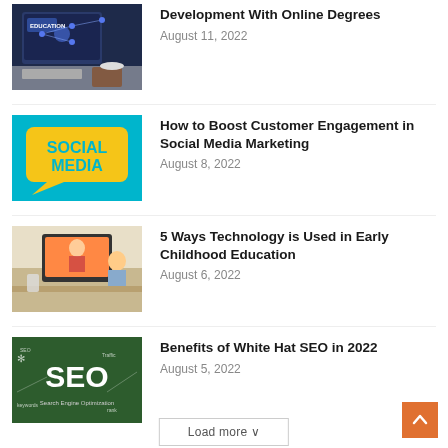[Figure (photo): Laptop with education-themed screen, coffee cup, notebook on desk]
Development With Online Degrees
August 11, 2022
[Figure (photo): Yellow speech bubble with 'SOCIAL MEDIA' text on teal background]
How to Boost Customer Engagement in Social Media Marketing
August 8, 2022
[Figure (photo): Child watching woman on computer monitor during online class]
5 Ways Technology is Used in Early Childhood Education
August 6, 2022
[Figure (photo): Chalkboard background with large white SEO text and 'Search Engine Optimization' subtitle]
Benefits of White Hat SEO in 2022
August 5, 2022
Load more